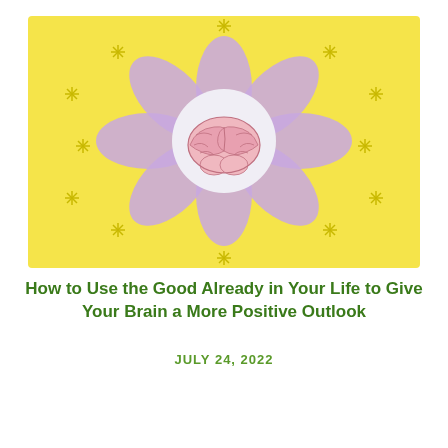[Figure (illustration): Illustration on a yellow background showing a purple daisy flower with a pink cartoon brain in the center on a white circular base. Decorative star/asterisk symbols are scattered around the background.]
How to Use the Good Already in Your Life to Give Your Brain a More Positive Outlook
JULY 24, 2022